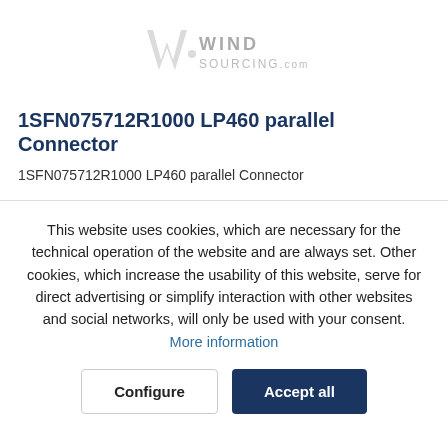WIND SOURCING.com
1SFN075712R1000 LP460 parallel Connector
1SFN075712R1000 LP460 parallel Connector
This website uses cookies, which are necessary for the technical operation of the website and are always set. Other cookies, which increase the usability of this website, serve for direct advertising or simplify interaction with other websites and social networks, will only be used with your consent.
More information